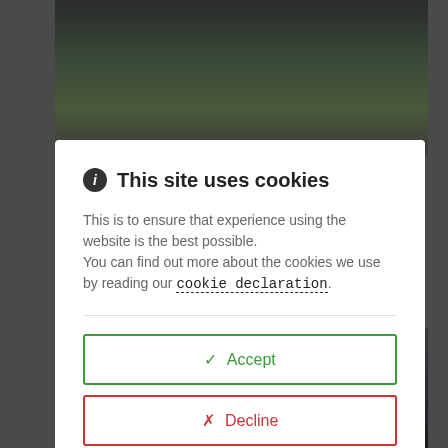[Figure (screenshot): Dark background with a photo of people outdoors, partially obscured by a modal dialog overlay]
This site uses cookies
This is to ensure that experience using the website is the best possible.
You can find out more about the cookies we use by reading our cookie declaration.
✓ Accept
✗ Decline